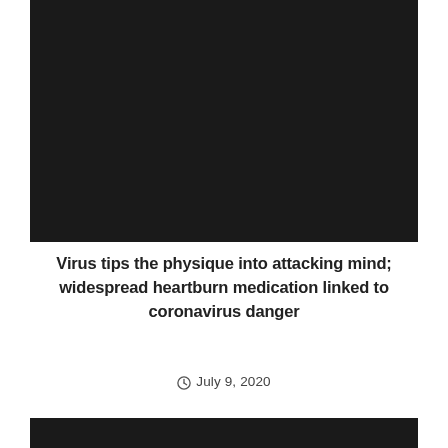[Figure (photo): Dark/black image block at top of page]
Virus tips the physique into attacking mind; widespread heartburn medication linked to coronavirus danger
July 9, 2020
[Figure (photo): Dark/black image block at bottom of page]